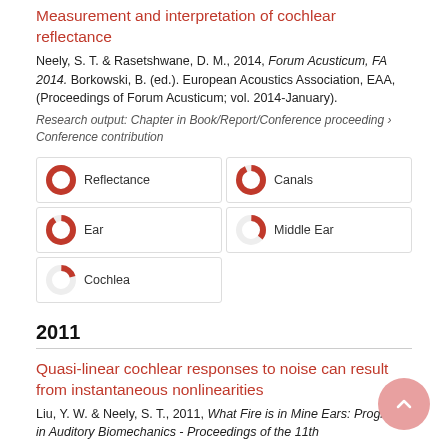Measurement and interpretation of cochlear reflectance
Neely, S. T. & Rasetshwane, D. M., 2014, Forum Acusticum, FA 2014. Borkowski, B. (ed.). European Acoustics Association, EAA, (Proceedings of Forum Acusticum; vol. 2014-January).
Research output: Chapter in Book/Report/Conference proceeding › Conference contribution
Reflectance 100%
Canals 93%
Ear 91%
Middle Ear 36%
Cochlea 20%
2011
Quasi-linear cochlear responses to noise can result from instantaneous nonlinearities
Liu, Y. W. & Neely, S. T., 2011, What Fire is in Mine Ears: Progress in Auditory Biomechanics - Proceedings of the 11th